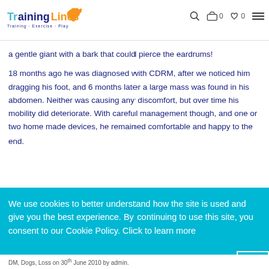Training Lines — Training · Exercise · Play — header with cart 0 and wishlist 0
a gentle giant with a bark that could pierce the eardrums!
18 months ago he was diagnosed with CDRM, after we noticed him dragging his foot, and 6 months later a large mass was found in his abdomen. Neither was causing any discomfort, but over time his mobility did deteriorate. With careful management though, and one or two home made devices, he remained comfortable and happy to the end.
We use cookies to better understand how the site is used and give you the best experience. By continuing to use this site, you consent to our Cookie Policy. Click to learn more
DM, Dogs, Loss on 30th June 2010 by admin.